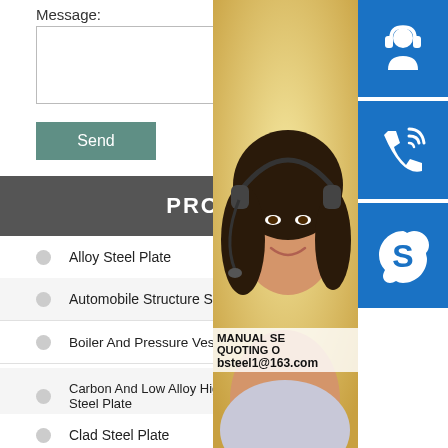Message:
[Figure (screenshot): Message text input box (empty)]
[Figure (screenshot): Send button (teal/green)]
PRODUCT
Alloy Steel Plate
Automobile Structure Steel Plate
Boiler And Pressure Vessel Steel Plate
Carbon And Low Alloy High Strength Steel Plate
Clad Steel Plate
[Figure (photo): Customer service woman with headset, yellow background]
[Figure (infographic): Three blue contact icon boxes: headset/customer service, phone call, Skype]
MANUAL SE QUOTING O bsteel1@163.com